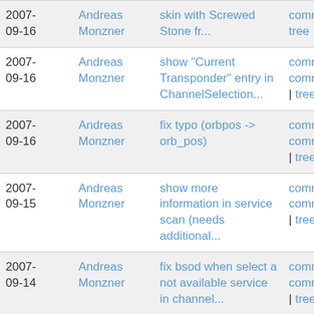| Date | Author | Message | Links |
| --- | --- | --- | --- |
| 2007-09-16 | Andreas Monzner | skin with Screwed Stone fr... | commitdiff | tree |
| 2007-09-16 | Andreas Monzner | show "Current Transponder" entry in ChannelSelection... | commit | commitdiff | tree |
| 2007-09-16 | Andreas Monzner | fix typo (orbpos -> orb_pos) | commit | commitdiff | tree |
| 2007-09-15 | Andreas Monzner | show more information in service scan (needs additional... | commit | commitdiff | tree |
| 2007-09-14 | Andreas Monzner | fix bsod when select a not available service in channel... | commit | commitdiff | tree |
| 2007-09-14 | Andreas Monzner | remove new found flags when do a automatic scan and... | commit | commitdiff | tree |
| 2007- | Andreas | remove duplicate includes | commit | |